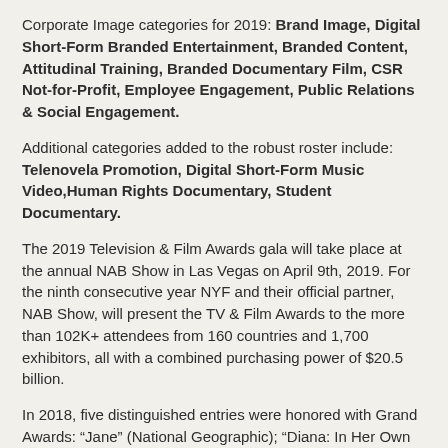Corporate Image categories for 2019: Brand Image, Digital Short-Form Branded Entertainment, Branded Content, Attitudinal Training, Branded Documentary Film, CSR Not-for-Profit, Employee Engagement, Public Relations & Social Engagement.
Additional categories added to the robust roster include: Telenovela Promotion, Digital Short-Form Music Video, Human Rights Documentary, Student Documentary.
The 2019 Television & Film Awards gala will take place at the annual NAB Show in Las Vegas on April 9th, 2019. For the ninth consecutive year NYF and their official partner, NAB Show, will present the TV & Film Awards to the more than 102K+ attendees from 160 countries and 1,700 exhibitors, all with a combined purchasing power of $20.5 billion.
In 2018, five distinguished entries were honored with Grand Awards: “Jane” (National Geographic); “Diana: In Her Own Words” (1895 Films); “Mosul” (Frontline PBS/C4/ Mongoose Pictures); “Yamazaki Moments” (Dentsu Inc.); and “Genius”